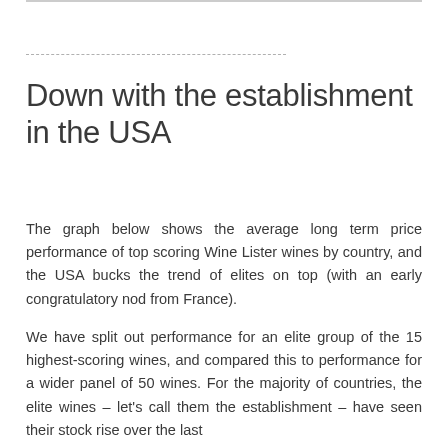Down with the establishment in the USA
The graph below shows the average long term price performance of top scoring Wine Lister wines by country, and the USA bucks the trend of elites on top (with an early congratulatory nod from France).
We have split out performance for an elite group of the 15 highest-scoring wines, and compared this to performance for a wider panel of 50 wines. For the majority of countries, the elite wines – let's call them the establishment – have seen their stock rise over the last